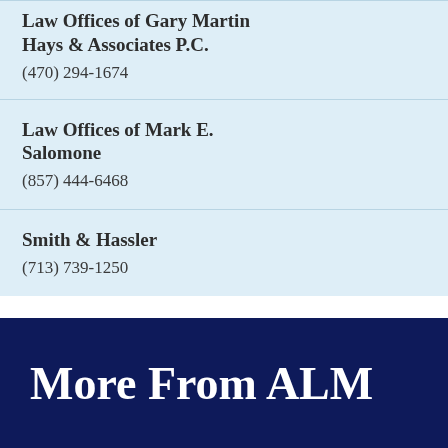Law Offices of Gary Martin Hays & Associates P.C.
(470) 294-1674
Law Offices of Mark E. Salomone
(857) 444-6468
Smith & Hassler
(713) 739-1250
More From ALM